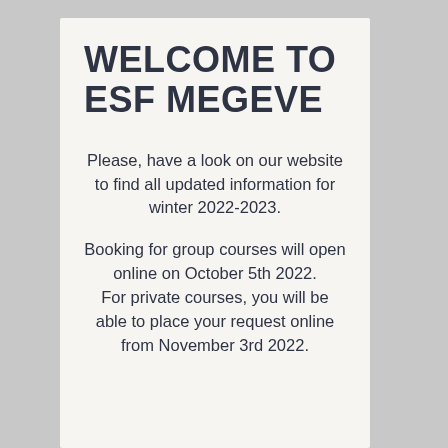WELCOME TO ESF MEGEVE
Please, have a look on our website to find all updated information for winter 2022-2023.
Booking for group courses will open online on October 5th 2022.
For private courses, you will be able to place your request online from November 3rd 2022.